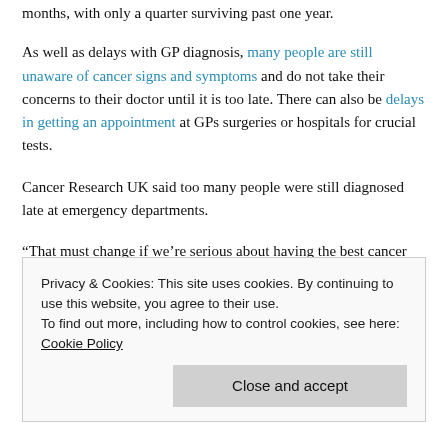months, with only a quarter surviving past one year.
As well as delays with GP diagnosis, many people are still unaware of cancer signs and symptoms and do not take their concerns to their doctor until it is too late. There can also be delays in getting an appointment at GPs surgeries or hospitals for crucial tests.
Cancer Research UK said too many people were still diagnosed late at emergency departments.
“That must change if we’re serious about having the best cancer survival in the world,” said Harpal Kumar, Cancer Research UK’s chief executive.
“These figures show much more needs to be done to give patients the best chance of surviving their disease, regardless of their age or where they live.”
Privacy & Cookies: This site uses cookies. By continuing to use this website, you agree to their use.
To find out more, including how to control cookies, see here: Cookie Policy
Close and accept